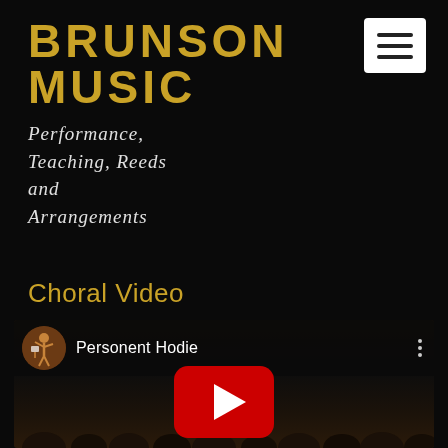BRUNSON MUSIC
Performance, Teaching, Reeds and Arrangements
Choral Video
[Figure (screenshot): YouTube video embed showing 'Personent Hodie' with a thumbnail of a conducting figure and a YouTube play button overlay over a dark concert hall background with audience silhouettes]